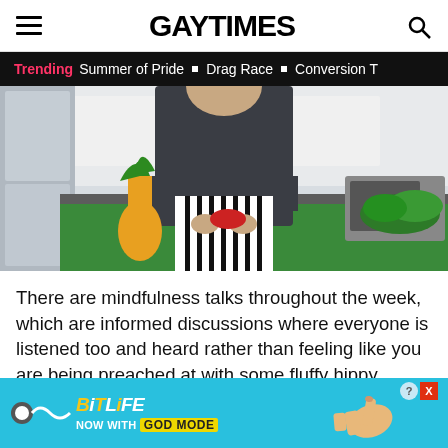GAY TIMES
Trending  Summer of Pride  Drag Race  Conversion T
[Figure (photo): A chef in a dark uniform standing behind a green cutting board in a kitchen, with a pineapple and vegetables visible on the counter.]
There are mindfulness talks throughout the week, which are informed discussions where everyone is listened too and heard rather than feeling like you are being preached at with some fluffy hippy yapp...ts whic...
[Figure (other): BitLife advertisement banner: 'NOW WITH GOD MODE' on a blue background with a hand pointing graphic and wave logo. Close/help buttons visible.]